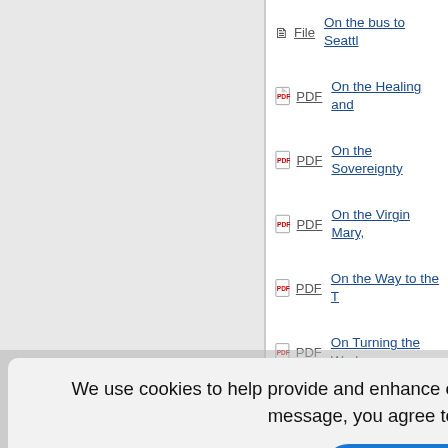File — On the bus to Seattle
PDF — On the Healing and
PDF — On the Sovereignty
PDF — On the Virgin Mary,
PDF — On the Way to the T
PDF — On Turning the Worl
PDF — Open Worship as C
m For Chur
, Michael L.
Bowl, Georg
Mother of th
Disciple De
Leaving the Local C
We use cookies to help provide and enhance our service and tailor content. By closing this message, you agree to the use of cookies.
Close